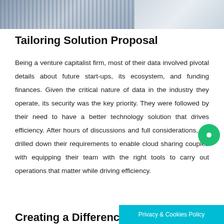[Figure (photo): Banner strip showing people at a business setting, partially cropped at top of page]
Tailoring Solution Proposal
Being a venture capitalist firm, most of their data involved pivotal details about future start-ups, its ecosystem, and funding finances. Given the critical nature of data in the industry they operate, its security was the key priority. They were followed by their need to have a better technology solution that drives efficiency. After hours of discussions and full considerations, we drilled down their requirements to enable cloud sharing coupled with equipping their team with the right tools to carry out operations that matter while driving efficiency.
Creating a Difference
Privacy & Cookies Policy